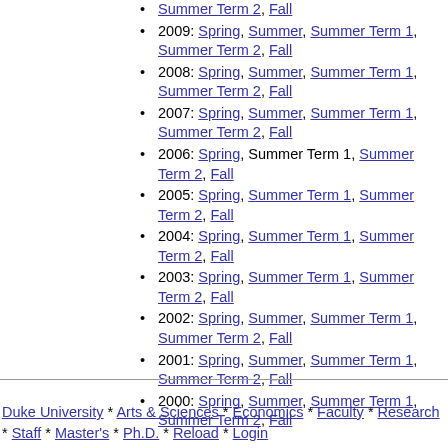Summer Term 2, Fall (top partial item)
2009: Spring, Summer, Summer Term 1, Summer Term 2, Fall
2008: Spring, Summer, Summer Term 1, Summer Term 2, Fall
2007: Spring, Summer, Summer Term 1, Summer Term 2, Fall
2006: Spring, Summer Term 1, Summer Term 2, Fall
2005: Spring, Summer Term 1, Summer Term 2, Fall
2004: Spring, Summer Term 1, Summer Term 2, Fall
2003: Spring, Summer Term 1, Summer Term 2, Fall
2002: Spring, Summer, Summer Term 1, Summer Term 2, Fall
2001: Spring, Summer, Summer Term 1, Summer Term 2, Fall
2000: Spring, Summer, Summer Term 1, Summer Term 2, Fall
Duke University * Arts & Sciences * Economics * Faculty * Research * Staff * Master's * Ph.D. * Reload * Login